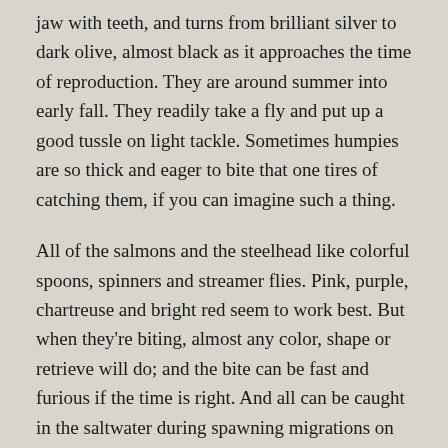jaw with teeth, and turns from brilliant silver to dark olive, almost black as it approaches the time of reproduction. They are around summer into early fall. They readily take a fly and put up a good tussle on light tackle. Sometimes humpies are so thick and eager to bite that one tires of catching them, if you can imagine such a thing.
All of the salmons and the steelhead like colorful spoons, spinners and streamer flies. Pink, purple, chartreuse and bright red seem to work best. But when they're biting, almost any color, shape or retrieve will do; and the bite can be fast and furious if the time is right. And all can be caught in the saltwater during spawning migrations on lures, cut or whole herring, and occasionally with flies.
Other fishes available in the saltwater are halibut up to 250 pounds, red snapper and other Pacific rockfishes, and lingcod. If you want to take fish home to the lower 48, the